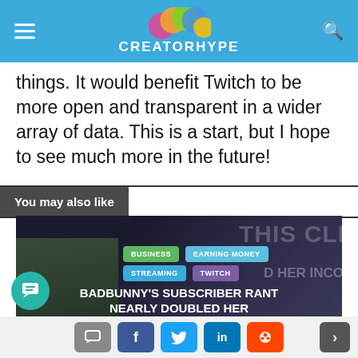CREATORHYPE
things. It would benefit Twitch to be more open and transparent in a wider array of data. This is a start, but I hope to see much more in the future!
You may also like
[Figure (screenshot): Thumbnail for article: BADBUNNY'S SUBSCRIBER RANT NEARLY DOUBLED HER INCOME, February 3, 2020. Shows tags: BUSINESS, EARNING MONEY, STREAMING, TWITCH. Streamer face on left, money image on right.]
Social share buttons: comment, facebook, twitter, linkedin, reddit